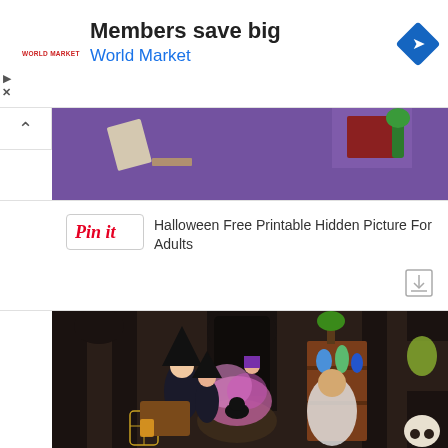[Figure (screenshot): Advertisement banner for World Market with text 'Members save big' and 'World Market' in blue, World Market logo on left, blue diamond navigation icon on right]
[Figure (screenshot): Partial view of a purple-background Halloween illustration showing objects on a shelf]
[Figure (screenshot): Pinterest 'Pin it' button with text 'Halloween Free Printable Hidden Picture For Adults' and a download icon]
[Figure (illustration): Halloween illustration showing witches in dark room with cauldron emitting pink smoke, shelves with potions, a skull, bird cage, and gothic architecture]